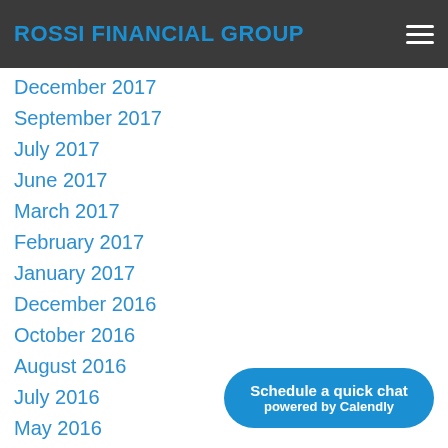ROSSI FINANCIAL GROUP
December 2017
September 2017
July 2017
June 2017
March 2017
February 2017
January 2017
December 2016
October 2016
August 2016
July 2016
May 2016
April 2016
March 2016
February 2016
December 2015
November 2015
Schedule a quick chat
powered by Calendly